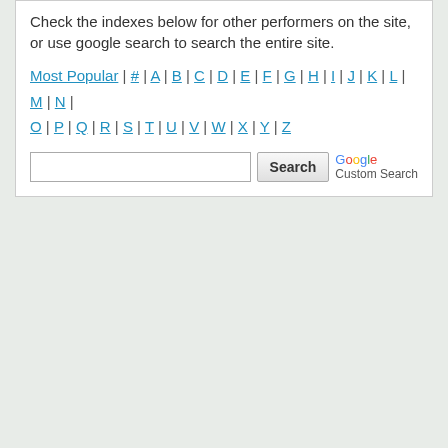Check the indexes below for other performers on the site, or use google search to search the entire site.
Most Popular | # | A | B | C | D | E | F | G | H | I | J | K | L | M | N | O | P | Q | R | S | T | U | V | W | X | Y | Z
[Figure (other): Google Custom Search box with a text input field, a Search button, and a Google Custom Search label.]